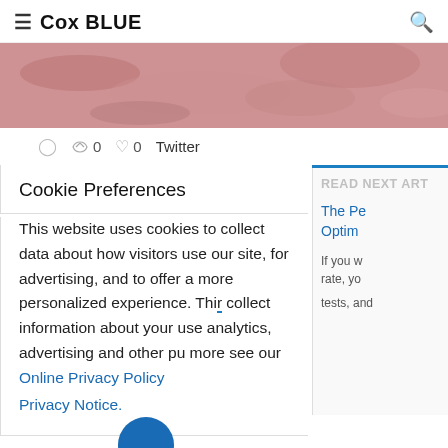≡ Cox BLUE
[Figure (photo): Close-up pink/red textured skin surface, partially cropped strip]
○  ⟳ 0  ♡ 0  Twitter
Cookie Preferences
This website uses cookies to collect data about how visitors use our site, for advertising, and to offer a more personalized experience. Thi[s website may] collect information about your use[...] analytics, advertising and other pu[rposes. For] more see our Online Privacy Policy [and our] Privacy Notice.
READ NEXT ART[ICLE]
The Pe[rformance] Optim[ization...]
If you w[ant to improve your] rate, yo[u should run A/B] tests, and